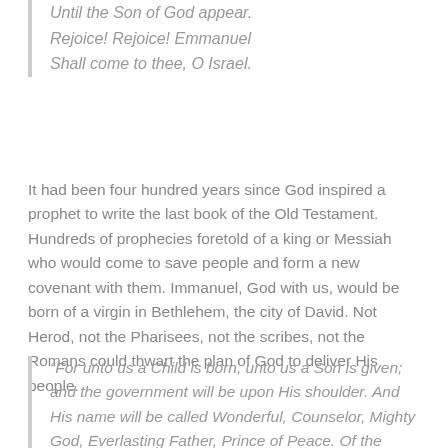Until the Son of God appear.
Rejoice! Rejoice! Emmanuel
Shall come to thee, O Israel.
It had been four hundred years since God inspired a prophet to write the last book of the Old Testament. Hundreds of prophecies foretold of a king or Messiah who would come to save people and form a new covenant with them. Immanuel, God with us, would be born of a virgin in Bethlehem, the city of David. Not Herod, not the Pharisees, not the scribes, not the Romans could thwart the plan of God to deliver His people.
“For unto us a Child is born, unto us a Son is given; and the government will be upon His shoulder. And His name will be called Wonderful, Counselor, Mighty God, Everlasting Father, Prince of Peace. Of the